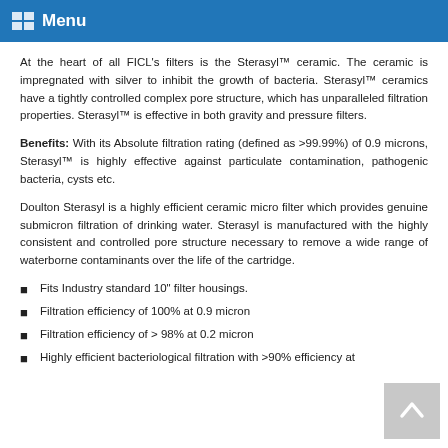Menu
At the heart of all FICL's filters is the Sterasyl™ ceramic. The ceramic is impregnated with silver to inhibit the growth of bacteria. Sterasyl™ ceramics have a tightly controlled complex pore structure, which has unparalleled filtration properties. Sterasyl™ is effective in both gravity and pressure filters.
Benefits: With its Absolute filtration rating (defined as >99.99%) of 0.9 microns, Sterasyl™ is highly effective against particulate contamination, pathogenic bacteria, cysts etc.
Doulton Sterasyl is a highly efficient ceramic micro filter which provides genuine submicron filtration of drinking water. Sterasyl is manufactured with the highly consistent and controlled pore structure necessary to remove a wide range of waterborne contaminants over the life of the cartridge.
Fits Industry standard 10" filter housings.
Filtration efficiency of 100% at 0.9 micron
Filtration efficiency of > 98% at 0.2 micron
Highly efficient bacteriological filtration with >90% efficiency at